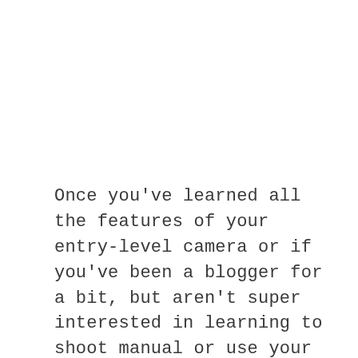Once you've learned all the features of your entry-level camera or if you've been a blogger for a bit, but aren't super interested in learning to shoot manual or use your camera outside of your blog, I would go to mid-range.
This will give you the quality you're looking for, without having to feel bad